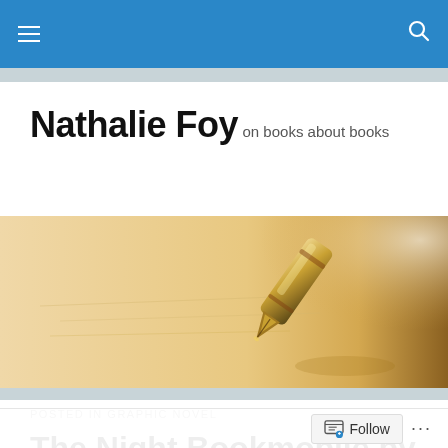Navigation bar with hamburger menu and search icon
Nathalie Foy
on books about books
[Figure (photo): A close-up photo of a golden/amber-toned fountain pen nib resting on paper, warm bokeh background]
POSTED IN GRAPHIC NOVEL
The Night Bookmobile by Audrey Niffenegger